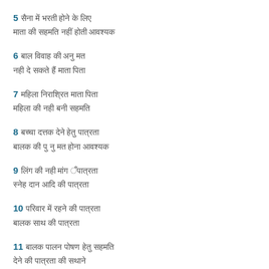5 [Hindi text line 1] [Hindi text line 2]
6 [Hindi text line 1] [Hindi text line 2]
7 [Hindi text line 1] [Hindi text line 2]
8 [Hindi text line 1] [Hindi text line 2]
9 [Hindi text line 1] [Hindi text line 2]
10 [Hindi text line 1] [Hindi text line 2]
11 [Hindi text line 1] [Hindi text line 2]